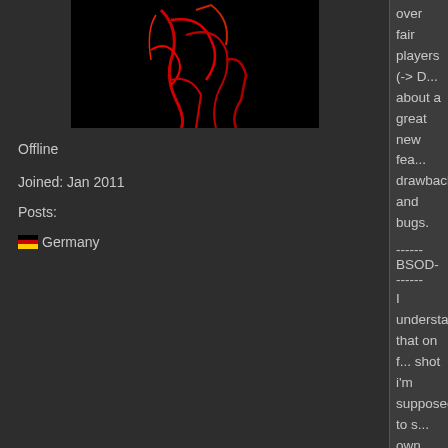[Figure (photo): Dark avatar image with red abstract figure on black background]
Offline
Joined: Jan 2011
Posts:
Germany
over fair players (-> D... about a great new fea... drawbacks and bugs.
------BSOD-------
I understand that on f... shot i'm supposed to s... own team by spectatin...
http://oi61.tinypic.com/...
It occurs always when... playing it's ok until i ge... can spectate team ma... gets screwed again an... respawn.
Was wondering if anyo... Happens also on fresh config.
Blackscreen is forced OpenGL command?
Anyone can help or fix...
------xp_drawconsole--
The new console intro... too well. Crashing gam... about it why is it still le... New players coming h... it.